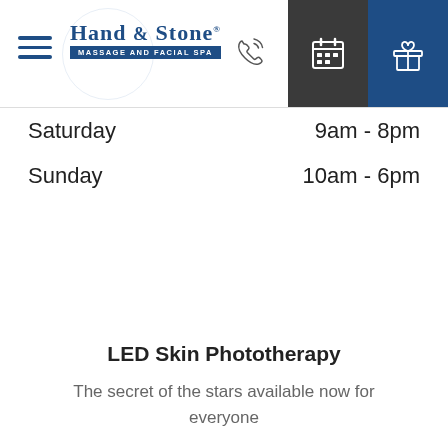Hand & Stone Massage and Facial Spa — navigation header with hamburger menu, logo, phone icon, calendar icon, and gift icon
Saturday    9am - 8pm
Sunday    10am - 6pm
LED Skin Phototherapy
The secret of the stars available now for everyone